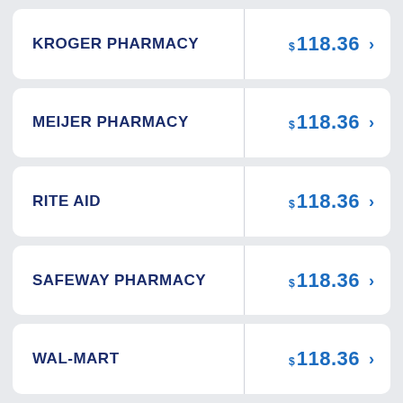KROGER PHARMACY $118.36
MEIJER PHARMACY $118.36
RITE AID $118.36
SAFEWAY PHARMACY $118.36
WAL-MART $118.36